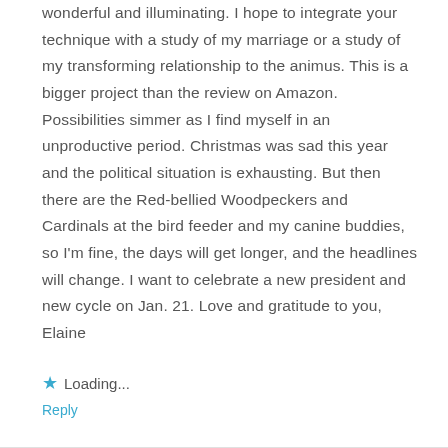wonderful and illuminating. I hope to integrate your technique with a study of my marriage or a study of my transforming relationship to the animus. This is a bigger project than the review on Amazon. Possibilities simmer as I find myself in an unproductive period. Christmas was sad this year and the political situation is exhausting. But then there are the Red-bellied Woodpeckers and Cardinals at the bird feeder and my canine buddies, so I'm fine, the days will get longer, and the headlines will change. I want to celebrate a new president and new cycle on Jan. 21. Love and gratitude to you, Elaine
Loading...
Reply